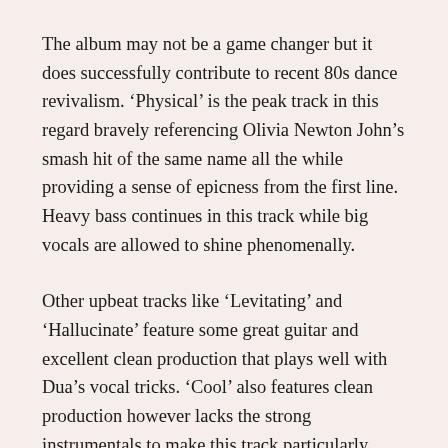The album may not be a game changer but it does successfully contribute to recent 80s dance revivalism. ‘Physical’ is the peak track in this regard bravely referencing Olivia Newton John’s smash hit of the same name all the while providing a sense of epicness from the first line. Heavy bass continues in this track while big vocals are allowed to shine phenomenally.
Other upbeat tracks like ‘Levitating’ and ‘Hallucinate’ feature some great guitar and excellent clean production that plays well with Dua’s vocal tricks. ‘Cool’ also features clean production however lacks the strong instrumentals to make this track particularly memorable. Heavier emphasis on the vocals in ‘Cool’ does however draw attention to Dua’s confident messaging, which is prevalent throughout the album. Dua walks listeners through romantic